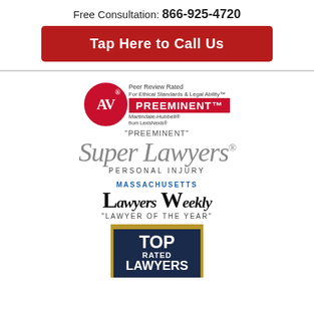Free Consultation: 866-925-4720
Tap Here to Call Us
[Figure (logo): AV Peer Review Rated PREEMINENT Martindale-Hubbell from LexisNexis badge]
"PREEMINENT"
[Figure (logo): Super Lawyers - Personal Injury logo in grey serif italic font]
PERSONAL INJURY
[Figure (logo): Massachusetts Lawyers Weekly logo]
"LAWYER OF THE YEAR"
[Figure (logo): Top Rated Lawyers badge with dark navy background and gold border]